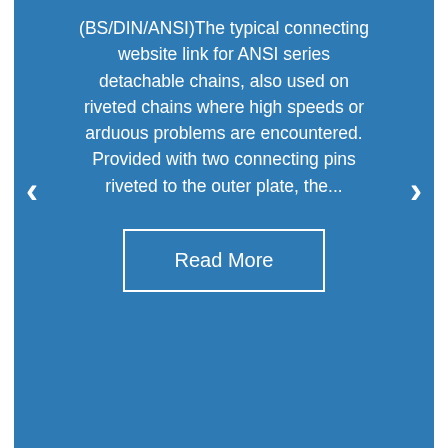(BS/DIN/ANSI)The typical connecting website link for ANSI series detachable chains, also used on riveted chains where high speeds or arduous problems are encountered. Provided with two connecting pins riveted to the outer plate, the...
Read More